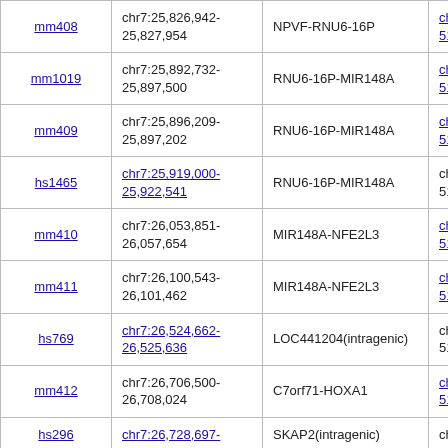| ID | Human locus | Genes | Mouse locus (partial) |
| --- | --- | --- | --- |
| mm408 | chr7:25,826,942-25,827,954 | NPVF-RNU6-16P | chr6:51,...51,055,1... |
| mm1019 | chr7:25,892,732-25,897,500 | RNU6-16P-MIR148A | chr6:51,...51,123,7... |
| mm409 | chr7:25,896,209-25,897,202 | RNU6-16P-MIR148A | chr6:51,...51,123,4... |
| hs1465 | chr7:25,919,000-25,922,541 | RNU6-16P-MIR148A | chr6:51,...51,148,2... |
| mm410 | chr7:26,053,851-26,057,654 | MIR148A-NFE2L3 | chr6:51,...51,284,4... |
| mm411 | chr7:26,100,543-26,101,462 | MIR148A-NFE2L3 | chr6:51,...51,312,6... |
| hs769 | chr7:26,524,662-26,525,636 | LOC441204(intragenic) | chr6:51,...51,659,5... |
| mm412 | chr7:26,706,500-26,708,024 | C7orf71-HOXA1 | chr6:51,...51,808,6... |
| hs296 | chr7:26,728,697-... | SKAP2(intragenic) | chr6:51,... |